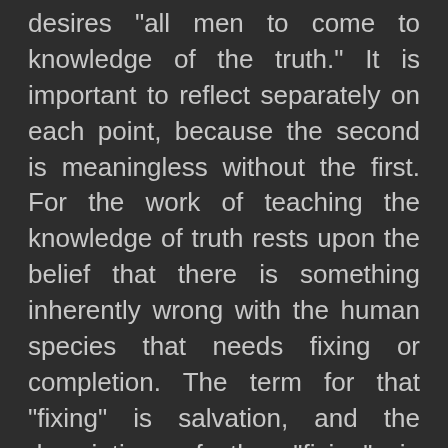desires “all men to come to knowledge of the truth.” It is important to reflect separately on each point, because the second is meaningless without the first. For the work of teaching the knowledge of truth rests upon the belief that there is something inherently wrong with the human species that needs fixing or completion. The term for that “fixing” is salvation, and the description of the “fixing” in theological terms is soteriology.
Soteriology is a very slippery eel to grasp hold of, and my early morning research raised more questions than answers. Every religion worth its salt has its own formula to describe what it